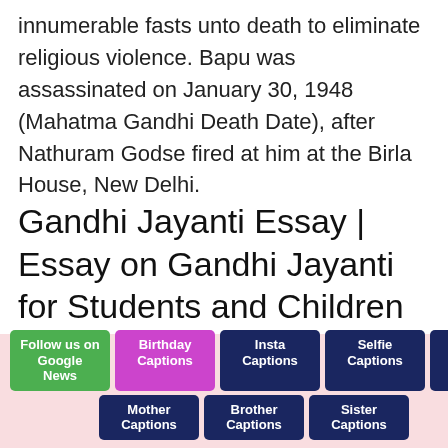innumerable fasts unto death to eliminate religious violence. Bapu was assassinated on January 30, 1948 (Mahatma Gandhi Death Date), after Nathuram Godse fired at him at the Birla House, New Delhi.
Gandhi Jayanti Essay | Essay on Gandhi Jayanti for Students and Children
[Figure (photo): Decorative image related to Gandhi Jayanti with Indian flag colors (saffron, white, green) and powder/rangoli elements.]
Follow us on Google News | Birthday Captions | Insta Captions | Selfie Captions | Father Captions | Mother Captions | Brother Captions | Sister Captions